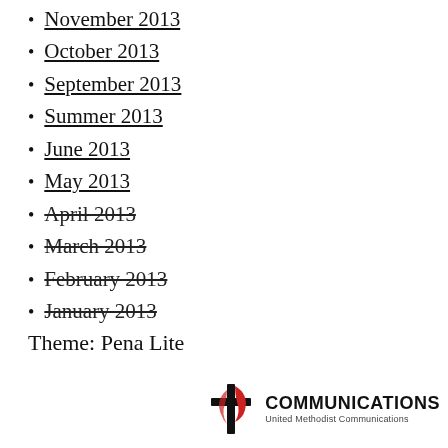November 2013
October 2013
September 2013
Summer 2013
June 2013
May 2013
April 2013
March 2013
February 2013
January 2013
Theme: Pena Lite
[Figure (logo): United Methodist Communications logo with flame cross icon and COMMUNICATIONS text]